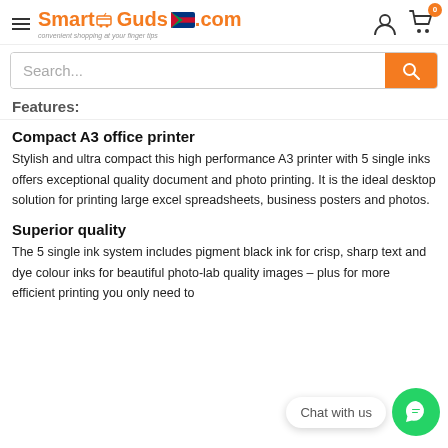SmartGuds.com — convenient shopping at your finger tips
[Figure (screenshot): Search bar with orange search button]
Features:
Compact A3 office printer
Stylish and ultra compact this high performance A3 printer with 5 single inks offers exceptional quality document and photo printing. It is the ideal desktop solution for printing large excel spreadsheets, business posters and photos.
Superior quality
The 5 single ink system includes pigment black ink for crisp, sharp text and dye colour inks for beautiful photo-lab quality images – plus for more efficient printing you only need to